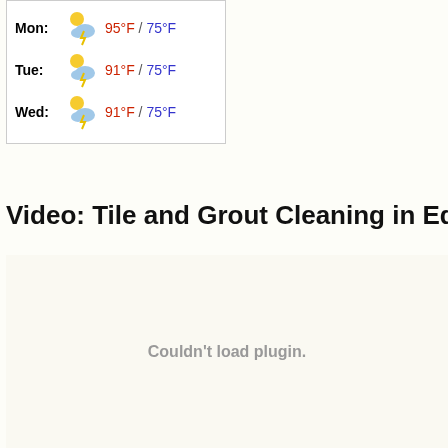[Figure (other): Weather widget showing Mon, Tue, Wed with thunderstorm icons and temperatures]
Video: Tile and Grout Cleaning in Edgewater
Couldn't load plugin.